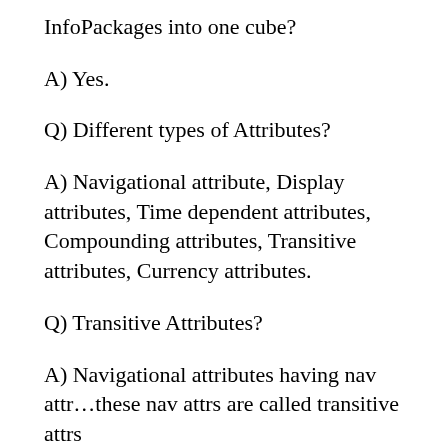InfoPackages into one cube?
A) Yes.
Q) Different types of Attributes?
A) Navigational attribute, Display attributes, Time dependent attributes, Compounding attributes, Transitive attributes, Currency attributes.
Q) Transitive Attributes?
A) Navigational attributes having nav attr…these nav attrs are called transitive attrs